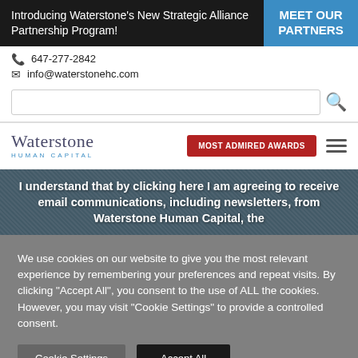Introducing Waterstone's New Strategic Alliance Partnership Program!
MEET OUR PARTNERS
647-277-2842
info@waterstonehc.com
[Figure (screenshot): Search input bar with magnifying glass icon]
[Figure (logo): Waterstone Human Capital logo with red MOST ADMIRED AWARDS button and hamburger menu icon]
I understand that by clicking here I am agreeing to receive email communications, including newsletters, from Waterstone Human Capital, the
We use cookies on our website to give you the most relevant experience by remembering your preferences and repeat visits. By clicking "Accept All", you consent to the use of ALL the cookies. However, you may visit "Cookie Settings" to provide a controlled consent.
Cookie Settings
Accept All